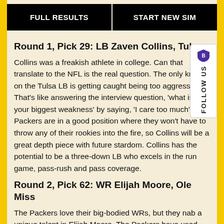[Figure (other): Two buttons: FULL RESULTS and START NEW SIM on black background]
Round 1, Pick 29: LB Zaven Collins, Tulsa
Collins was a freakish athlete in college. Can that translate to the NFL is the real question. The only knock on the Tulsa LB is getting caught being too aggressive. That’s like answering the interview question, ‘what is your biggest weakness’ by saying, ‘I care too much’. The Packers are in a good position where they won’t have to throw any of their rookies into the fire, so Collins will be a great depth piece with future stardom. Collins has the potential to be a three-down LB who excels in the run game, pass-rush and pass coverage.
Round 2, Pick 62: WR Elijah Moore, Ole Miss
The Packers love their big-bodied WRs, but they nab a unique talent in Elijah Moore. The Packers have used the